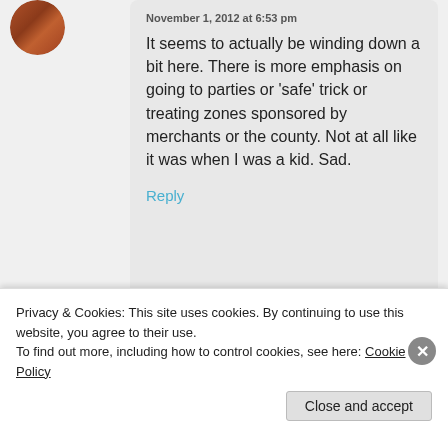November 1, 2012 at 6:53 pm
It seems to actually be winding down a bit here. There is more emphasis on going to parties or ‘safe’ trick or treating zones sponsored by merchants or the county. Not at all like it was when I was a kid. Sad.
Reply
Advertisements
Privacy & Cookies: This site uses cookies. By continuing to use this website, you agree to their use.
To find out more, including how to control cookies, see here: Cookie Policy
Close and accept